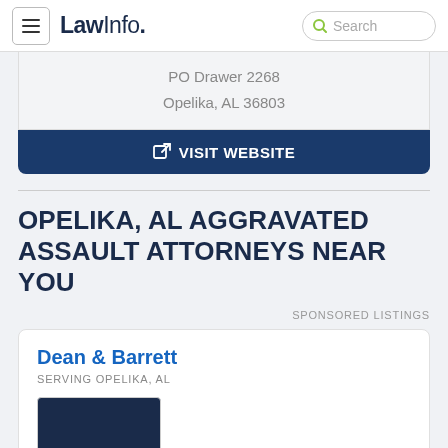LawInfo. Search
PO Drawer 2268
Opelika, AL 36803
VISIT WEBSITE
OPELIKA, AL AGGRAVATED ASSAULT ATTORNEYS NEAR YOU
SPONSORED LISTINGS
Dean & Barrett
SERVING OPELIKA, AL